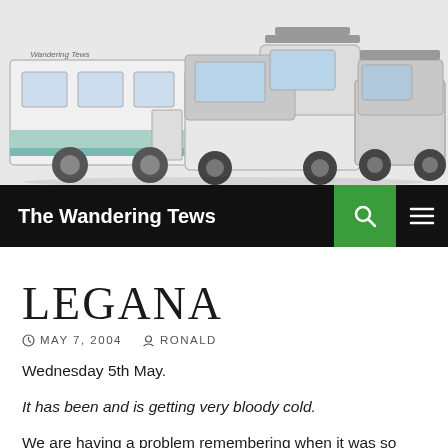[Figure (photo): Photo of a white caravan/trailer being towed by a white pickup truck with a canopy and roof rack, along with another SUV vehicle, on a white background. Text 'Wandering Tews' is faintly visible on the trailer.]
The Wandering Tews
LEGANA
MAY 7, 2004   RONALD
Wednesday 5th May.
It has been and is getting very bloody cold.
We are having a problem remembering when it was so cold in Tassie so early in the year, and really can't remember. A few locals are also indicating that this is the coldest start to winter